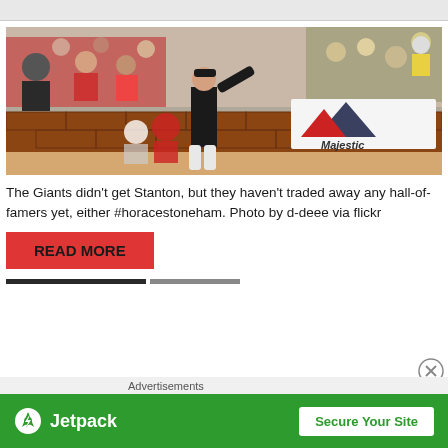[Figure (photo): Baseball player in black uniform pitching/throwing, with crowd in background wearing red, and a Majestic brand advertisement on wall]
The Giants didn't get Stanton, but they haven't traded away any hall-of-famers yet, either #horacestoneham. Photo by d-deee via flickr
READ MORE
Advertisements
[Figure (logo): Jetpack advertisement banner with Jetpack logo and 'Secure Your Site' button on green background]